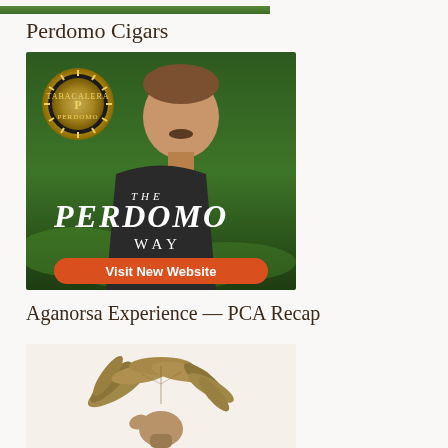[Figure (photo): Partial top image showing green tobacco leaves or plants, cropped at top of page]
Perdomo Cigars
[Figure (photo): Perdomo Cigars advertisement showing a man in a black shirt standing in front of a tobacco field, with a gold medallion badge in top left, text reading 'THE PERDOMO WAY' and an orange button saying 'Visit New Website']
Aganorsa Experience — PCA Recap
[Figure (logo): Aganorsa logo showing a hand holding a bundle of tobacco leaves, partial view at bottom of page]